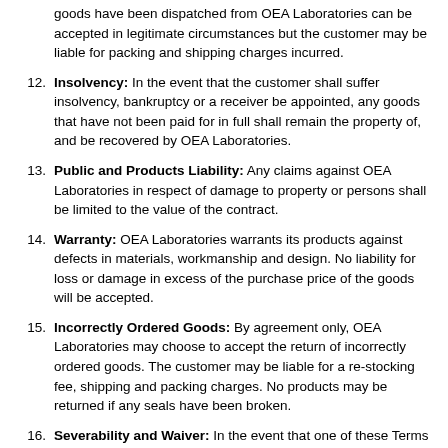goods have been dispatched from OEA Laboratories can be accepted in legitimate circumstances but the customer may be liable for packing and shipping charges incurred.
Insolvency: In the event that the customer shall suffer insolvency, bankruptcy or a receiver be appointed, any goods that have not been paid for in full shall remain the property of, and be recovered by OEA Laboratories.
Public and Products Liability: Any claims against OEA Laboratories in respect of damage to property or persons shall be limited to the value of the contract.
Warranty: OEA Laboratories warrants its products against defects in materials, workmanship and design. No liability for loss or damage in excess of the purchase price of the goods will be accepted.
Incorrectly Ordered Goods: By agreement only, OEA Laboratories may choose to accept the return of incorrectly ordered goods. The customer may be liable for a re-stocking fee, shipping and packing charges. No products may be returned if any seals have been broken.
Severability and Waiver: In the event that one of these Terms